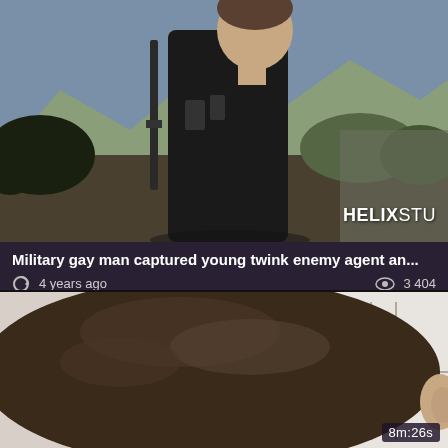[Figure (photo): Video thumbnail showing a person in black tactical gear holding a rifle, standing in an outdoor landscape with mountains and vegetation in background. Watermark 'HELIXSTU' visible at bottom right.]
Military gay man captured young twink enemy agent an...
4 years ago   3 404
[Figure (photo): Video thumbnail showing close-up of a person's head/hair from behind, duration badge '8m:26s' at top right.]